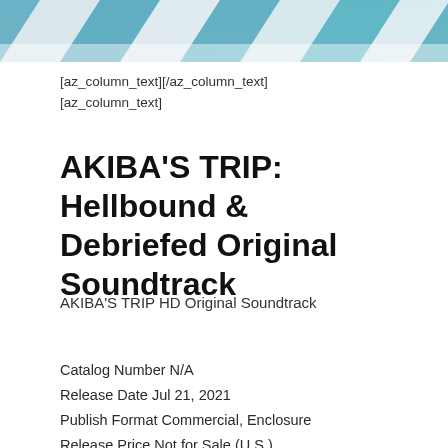[Figure (photo): Decorative banner photo showing diagonal blue and white striped pattern, possibly a street crossing or textile, photographed from above.]
[az_column_text][/az_column_text]
[az_column_text]
AKIBA'S TRIP: Hellbound & Debriefed Original Soundtrack
AKIBA'S TRIP HD Original Soundtrack
Catalog Number N/A
Release Date Jul 21, 2021
Publish Format Commercial, Enclosure
Release Price Not for Sale (U.S.)
Media Format Digital